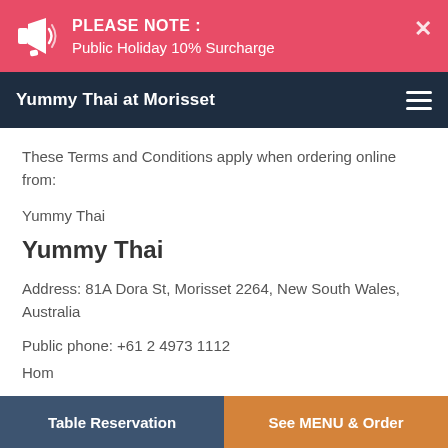PLEASE NOTE : Public Holiday 10% Surcharge
Yummy Thai at Morisset
These Terms and Conditions apply when ordering online from:
Yummy Thai
Yummy Thai
Address: 81A Dora St, Morisset 2264, New South Wales, Australia
Public phone: +61 2 4973 1112
Table Reservation | See MENU & Order